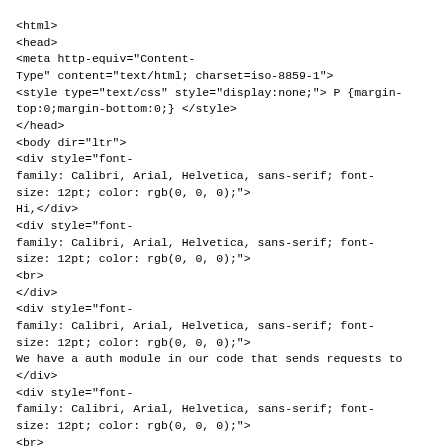<html>
<head>
<meta http-equiv="Content-Type" content="text/html; charset=iso-8859-1">
<style type="text/css" style="display:none;"> P {margin-top:0;margin-bottom:0;} </style>
</head>
<body dir="ltr">
<div style="font-family: Calibri, Arial, Helvetica, sans-serif; font-size: 12pt; color: rgb(0, 0, 0);">
Hi,</div>
<div style="font-family: Calibri, Arial, Helvetica, sans-serif; font-size: 12pt; color: rgb(0, 0, 0);">
<br>
</div>
<div style="font-family: Calibri, Arial, Helvetica, sans-serif; font-size: 12pt; color: rgb(0, 0, 0);">
We have a auth module in our code that sends requests to
</div>
<div style="font-family: Calibri, Arial, Helvetica, sans-serif; font-size: 12pt; color: rgb(0, 0, 0);">
<br>
</div>
<div style="font-family: Calibri, Arial, Helvetica, sans-serif; font-size: 12pt; color: rgb(0, 0, 0);">